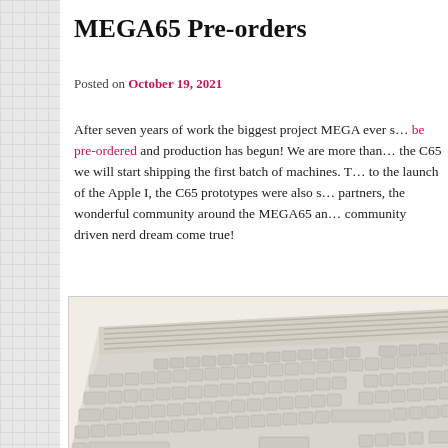MEGA65 Pre-orders
Posted on October 19, 2021
After seven years of work the biggest project MEGA ever s... be pre-ordered and production has begun! We are more than... the C65 we will start shipping the first batch of machines. T... to the launch of the Apple I, the C65 prototypes were also s... partners, the wonderful community around the MEGA65 an... community driven nerd dream come true!
[Figure (photo): Photo of a MEGA65 computer keyboard, beige/cream color, angled view showing keys with MEGA branding visible at the right edge.]